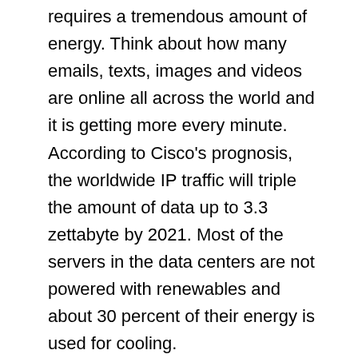entire digital communication requires a tremendous amount of energy. Think about how many emails, texts, images and videos are online all across the world and it is getting more every minute. According to Cisco's prognosis, the worldwide IP traffic will triple the amount of data up to 3.3 zettabyte by 2021. Most of the servers in the data centers are not powered with renewables and about 30 percent of their energy is used for cooling.
I learned at a Carbon War Room meeting that one Google hit is the equivalent of driving a car for 40 meters…! Of course it depends on the type of car (laughs), but it makes it visible how big the impact is. When it comes to use of computers and smart phones, the terminology is often